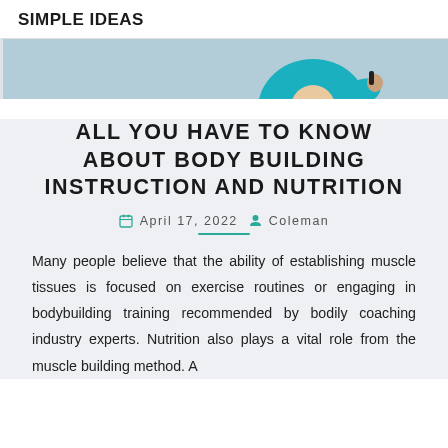SIMPLE IDEAS
[Figure (photo): Partial photo of a person in a teal/blue shirt, cropped at the top]
ALL YOU HAVE TO KNOW ABOUT BODY BUILDING INSTRUCTION AND NUTRITION
April 17, 2022  Coleman
Many people believe that the ability of establishing muscle tissues is focused on exercise routines or engaging in bodybuilding training recommended by bodily coaching industry experts. Nutrition also plays a vital role from the muscle building method. A